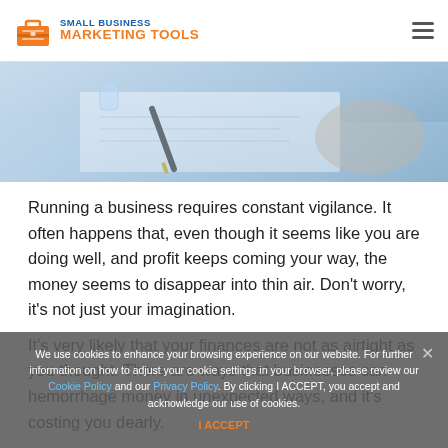SMALL BUSINESS MARKETING TOOLS
[Figure (photo): Close-up photo of a person writing/signing a document with a pen on a desk, business setting]
Running a business requires constant vigilance. It often happens that, even though it seems like you are doing well, and profit keeps coming your way, the money seems to disappear into thin air. Don't worry, it's not just your imagination.
It's very likely that your finances are not as airtight as you thought. There are ways that businesses can hemorrhage money in unexpected ways, and it's costing you dearly.
We use cookies to enhance your browsing experience on our website. For further information on how to adjust your cookie settings in your browser, please review our Cookie Policy and our Privacy Policy. By clicking I ACCEPT, you accept and acknowledge our use of cookies.
I ACCEPT